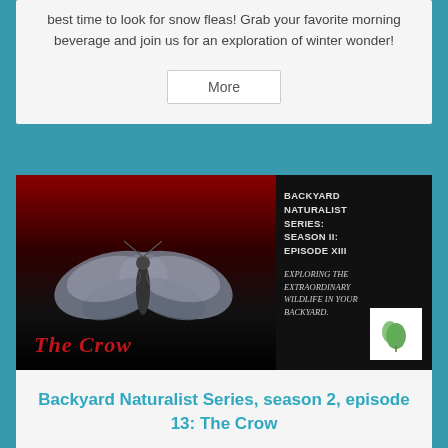best time to look for snow fleas! Grab your favorite morning beverage and join us for an exploration of winter wonder!
More
[Figure (screenshot): Video thumbnail for Backyard Naturalist Series: Season II: Episode XIII. Shows The Crow movie-style poster with a moth/butterfly figure, red background on left, black background on right with text. 'Video' badge in top right corner. Logo box in bottom right.]
Backyard Naturalist Series, season 2, episode 13: The Crow